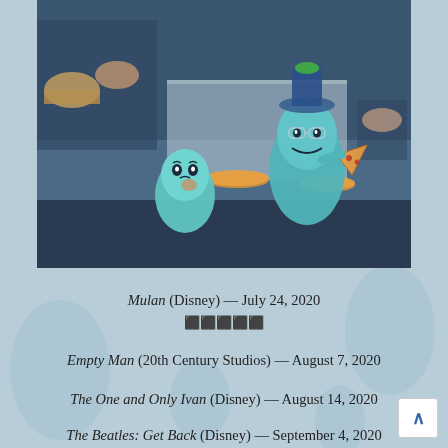[Figure (photo): Animated scene from Pixar's Soul showing two glowing blue soul characters at what appears to be a food counter with pizzas and pastries. One smaller soul looks worried, the other taller soul with glasses and a green/blue hat is holding a pizza slice.]
Mulan (Disney) — July 24, 2020
⬛⬛⬛⬛⬛
Empty Man (20th Century Studios) — August 7, 2020
The One and Only Ivan (Disney) — August 14, 2020
The Beatles: Get Back (Disney) — September 4, 2020